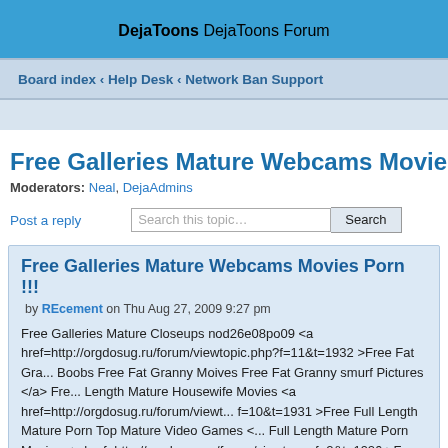DejaToons
DejaToons Forum
Board index ‹ Help Desk ‹ Network Ban Support
Free Galleries Mature Webcams Movies Porn !!!
Moderators: Neal, DejaAdmins
Post a reply
Search this topic… Search
Free Galleries Mature Webcams Movies Porn !!!
by REcement on Thu Aug 27, 2009 9:27 pm
Free Galleries Mature Closeups nod26e08po09 <a href=http://orgdosug.ru/forum/viewtopic.php?f=11&t=1932 >Free Fat Gra... Boobs Free Fat Granny Moives Free Fat Granny smurf Pictures </a> Fre... Length Mature Housewife Movies <a href=http://orgdosug.ru/forum/viewt... f=10&t=1931 >Free Full Length Mature Porn Top Mature Video Games <... Full Length Mature Porn Movies <a href=http://orgdosug.ru/forum/viewtop... f=2&t=1926 >Free Fat Mature </a>, Free Fat Mature Lesbian Pron !!!